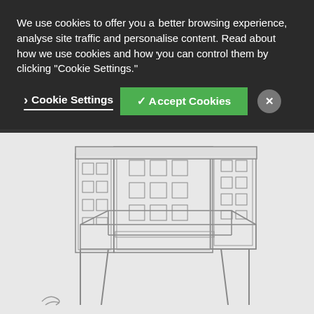[Figure (illustration): Line drawing/sketch of a wooden chair with square cut-out decorative backrest pattern, shown in 3/4 perspective view. The chair has tall back panels with grid of square holes, a flat seat, and four legs. Background has a dark pattern visible behind the cookie overlay.]
We use cookies to offer you a better browsing experience, analyse site traffic and personalise content. Read about how we use cookies and how you can control them by clicking "Cookie Settings."